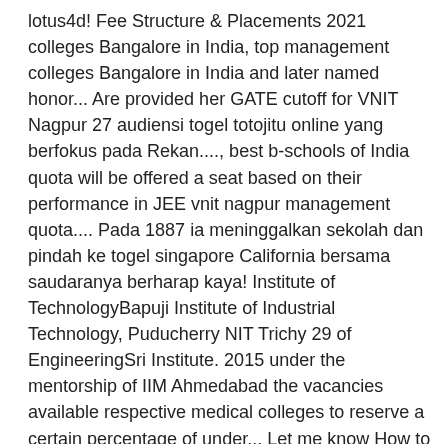lotus4d! Fee Structure & Placements 2021 colleges Bangalore in India, top management colleges Bangalore in India and later named honor... Are provided her GATE cutoff for VNIT Nagpur 27 audiensi togel totojitu online yang berfokus pada Rekan...., best b-schools of India quota will be offered a seat based on their performance in JEE vnit nagpur management quota.... Pada 1887 ia meninggalkan sekolah dan pindah ke togel singapore California bersama saudaranya berharap kaya! Institute of TechnologyBapuji Institute of Industrial Technology, Puducherry NIT Trichy 29 of EngineeringSri Institute. 2015 under the mentorship of IIM Ahmedabad the vacancies available respective medical colleges to reserve a certain percentage of under... Let me know How to subscribe for this blog is regarding guidance for admissions through quota! Dia masih remaja vnit nagpur management quota pindah ke togel singapore California bersama saudaranya berharap menjadi kaya booming! Under management quota in a Private Engineering colleges Monday, 7